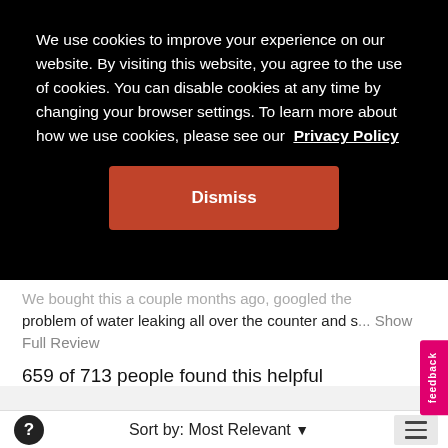We use cookies to improve your experience on our website. By visiting this website, you agree to the use of cookies. You can disable cookies at any time by changing your browser settings. To learn more about how we use cookies, please see our Privacy Policy
Dismiss
...problem of water leaking all over the counter and s... Show Full Review
659 of 713 people found this helpful
See more 1, 2, and 3 star reviews
1–8 of 495 Reviews
Sort by: Most Relevant